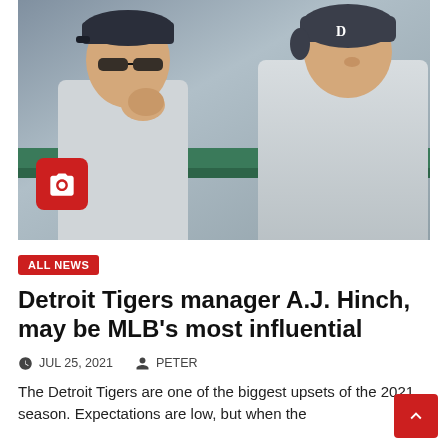[Figure (photo): Two Detroit Tigers baseball figures in dugout — a coach or manager in sunglasses and team cap holding fist to chin, and a player in white Tigers uniform with helmet, looking forward. Green dugout railing visible.]
ALL NEWS
Detroit Tigers manager A.J. Hinch, may be MLB's most influential
JUL 25, 2021   PETER
The Detroit Tigers are one of the biggest upsets of the 2021 season. Expectations are low, but when the